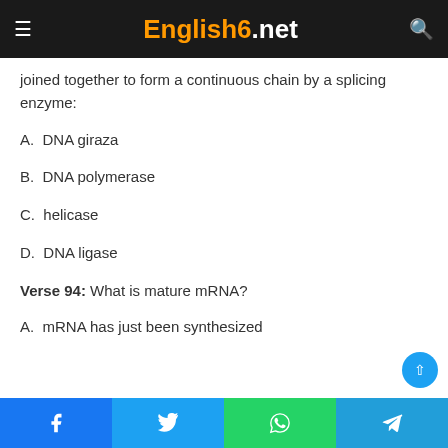English6.net
joined together to form a continuous chain by a splicing enzyme:
A. DNA giraza
B. DNA polymerase
C. helicase
D. DNA ligase
Verse 94: What is mature mRNA?
A. mRNA has just been synthesized
Facebook Twitter WhatsApp Telegram